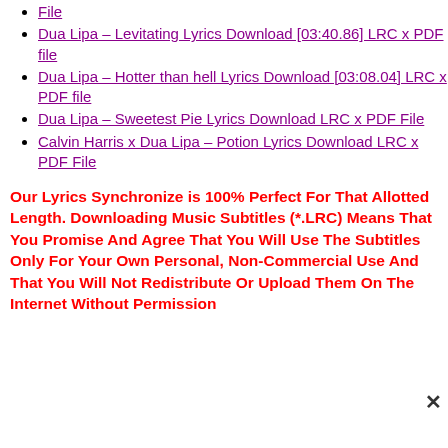File (partial, top cut off)
Dua Lipa – Levitating Lyrics Download [03:40.86] LRC x PDF file
Dua Lipa – Hotter than hell Lyrics Download [03:08.04] LRC x PDF file
Dua Lipa – Sweetest Pie Lyrics Download LRC x PDF File
Calvin Harris x Dua Lipa – Potion Lyrics Download LRC x PDF File
Our Lyrics Synchronize is 100% Perfect For That Allotted Length. Downloading Music Subtitles (*.LRC) Means That You Promise And Agree That You Will Use The Subtitles Only For Your Own Personal, Non-Commercial Use And That You Will Not Redistribute Or Upload Them On The Internet Without Permission